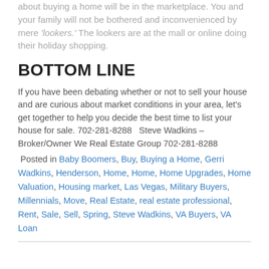about buying a home will be in the marketplace. You and your family will not be bothered and inconvenienced by mere 'lookers.' The lookers are at the mall or online doing their holiday shopping.
BOTTOM LINE
If you have been debating whether or not to sell your house and are curious about market conditions in your area, let's get together to help you decide the best time to list your house for sale. 702-281-8288   Steve Wadkins – Broker/Owner We Real Estate Group 702-281-8288
Posted in Baby Boomers, Buy, Buying a Home, Gerri Wadkins, Henderson, Home, Home, Home Upgrades, Home Valuation, Housing market, Las Vegas, Military Buyers, Millennials, Move, Real Estate, real estate professional, Rent, Sale, Sell, Spring, Steve Wadkins, VA Buyers, VA Loan